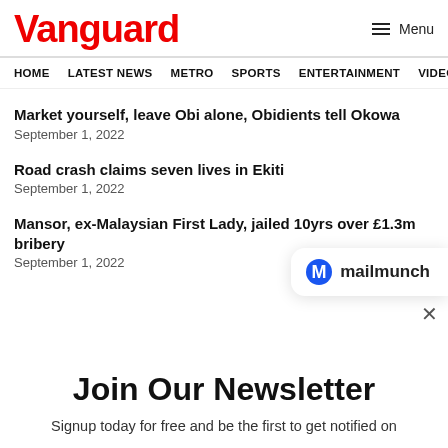Vanguard   ≡ Menu
HOME   LATEST NEWS   METRO   SPORTS   ENTERTAINMENT   VIDEOS
Market yourself, leave Obi alone, Obidients tell Okowa
September 1, 2022
Road crash claims seven lives in Ekiti
September 1, 2022
Mansor, ex-Malaysian First Lady, jailed 10yrs over £1.3m bribery
September 1, 2022
[Figure (logo): Mailmunch logo with blue M icon and 'mailmunch' text]
Join Our Newsletter
Signup today for free and be the first to get notified on